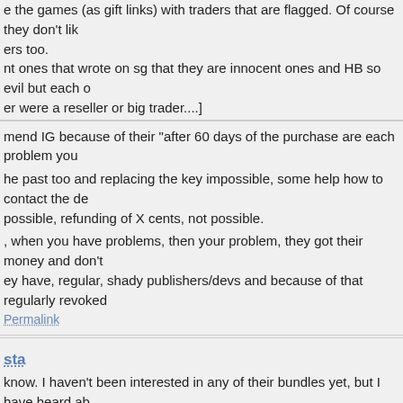e the games (as gift links) with traders that are flagged. Of course they don't like traders too. nt ones that wrote on sg that they are innocent ones and HB so evil but each one er were a reseller or big trader....]
mend IG because of their "after 60 days of the purchase are each problem you he past too and replacing the key impossible, some help how to contact the de possible, refunding of X cents, not possible. , when you have problems, then your problem, they got their money and don't ey have, regular, shady publishers/devs and because of that regularly revoked
Permalink
sta
know. I haven't been interested in any of their bundles yet, but I have heard ab f the shady publishers/devs. I remember reading this comment and checking o bout the dev revoking unredeemed keys:
ww.steamgifts.com/discussion/O6bxc/indiegala-exotic-riddles-bundle#Tn7qaEZ
ago  Permalink